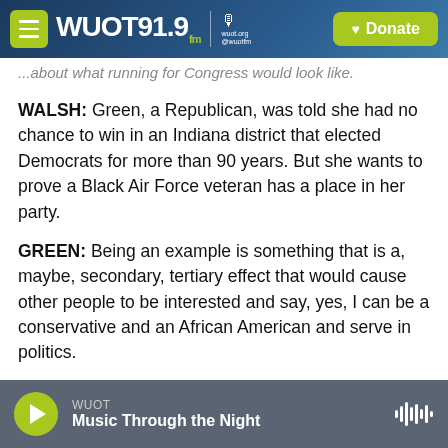WUOT 91.9 FM | Donate
...about what running for Congress would look like.
WALSH: Green, a Republican, was told she had no chance to win in an Indiana district that elected Democrats for more than 90 years. But she wants to prove a Black Air Force veteran has a place in her party.
GREEN: Being an example is something that is a, maybe, secondary, tertiary effect that would cause other people to be interested and say, yes, I can be a conservative and an African American and serve in politics.
WUOT | Music Through the Night